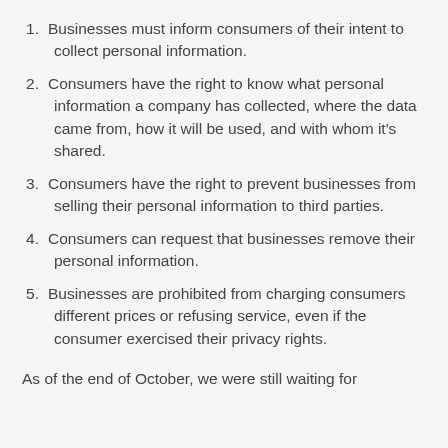Businesses must inform consumers of their intent to collect personal information.
Consumers have the right to know what personal information a company has collected, where the data came from, how it will be used, and with whom it's shared.
Consumers have the right to prevent businesses from selling their personal information to third parties.
Consumers can request that businesses remove their personal information.
Businesses are prohibited from charging consumers different prices or refusing service, even if the consumer exercised their privacy rights.
As of the end of October, we were still waiting for